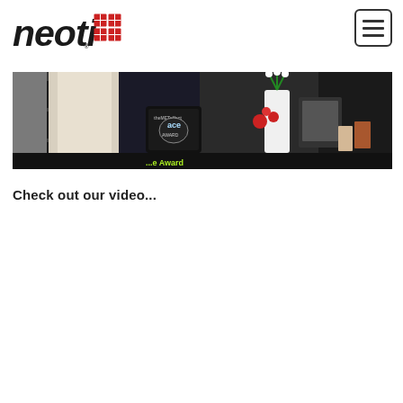[Figure (logo): Neoti logo — stylized italic 'neoti' text in black with a red grid/tile icon to the right]
[Figure (photo): People standing at an event booth or award ceremony holding a black award plaque reading 'the MET effect ACE AWARD'. A plant with red flowers and a lit blue sign are visible in the background.]
Check out our video...